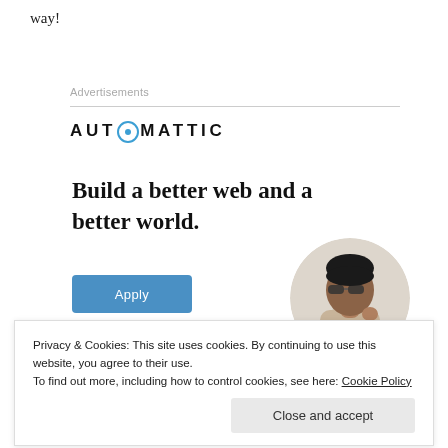way!
Advertisements
[Figure (logo): Automattic logo with stylized compass-circle replacing the O]
Build a better web and a better world.
[Figure (photo): Circular cropped photo of a man wearing glasses and a beige shirt, looking thoughtfully upward]
Apply
Privacy & Cookies: This site uses cookies. By continuing to use this website, you agree to their use.
To find out more, including how to control cookies, see here: Cookie Policy
Close and accept
improve and positive thinking runs deep and